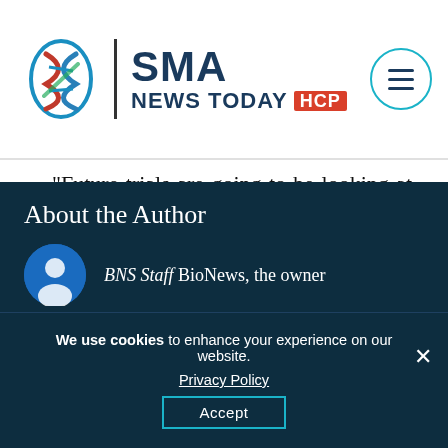SMA NEWS TODAY HCP
“Future trials are going to be looking at a very different background of therapy, so we’ll need to study this in combination. We think that’s a good thing.”
Print This Page
About the Author
BNS Staff BioNews, the owner
We use cookies to enhance your experience on our website. Privacy Policy Accept